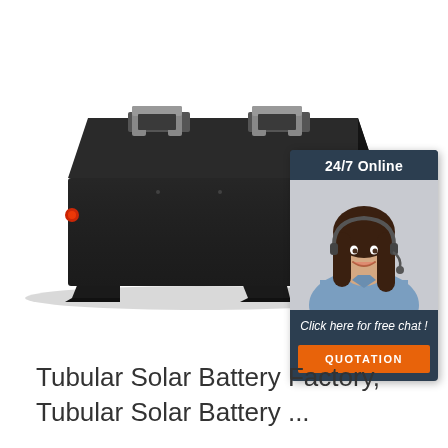[Figure (photo): A rectangular black tubular solar battery unit with mounting feet and two handle brackets on top, photographed against a white background. In the upper-right corner is a customer service chat widget showing '24/7 Online', a female customer service representative wearing a headset, text 'Click here for free chat!', and an orange 'QUOTATION' button.]
Tubular Solar Battery Factory, Tubular Solar Battery ...